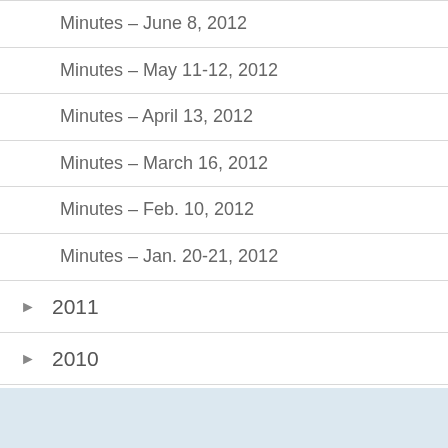Minutes – June 8, 2012
Minutes – May 11-12, 2012
Minutes – April 13, 2012
Minutes – March 16, 2012
Minutes – Feb. 10, 2012
Minutes – Jan. 20-21, 2012
► 2011
► 2010
► 2009
► 2008